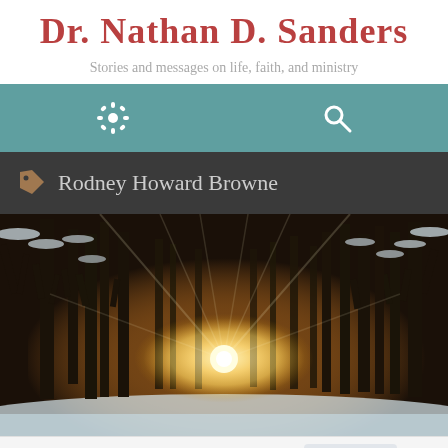Dr. Nathan D. Sanders
Stories and messages on life, faith, and ministry
[Figure (screenshot): Navigation bar with gear/settings icon and search icon on teal background]
Rodney Howard Browne
[Figure (photo): Winter forest scene with snow-covered trees and sunburst of golden light shining through the trees]
Follow ...